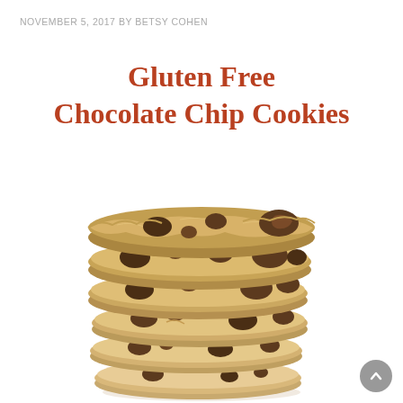NOVEMBER 5, 2017 BY BETSY COHEN
Gluten Free Chocolate Chip Cookies
[Figure (photo): A tall stack of gluten free chocolate chip cookies photographed against a white background. The cookies appear golden-brown with visible large chocolate chunks throughout. The stack contains approximately 6 cookies piled on top of each other.]